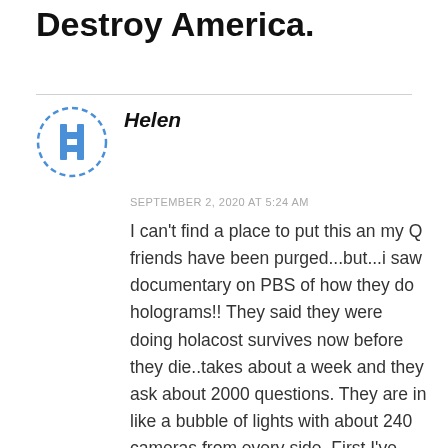Destroy America.
Helen
SEPTEMBER 2, 2020 AT 5:24 AM
I can't find a place to put this an my Q friends have been purged...but...i saw documentary on PBS of how they do holograms!! They said they were doing holacost survives now before they die..takes about a week and they ask about 2000 questions. They are in like a bubble of lights with about 240 cameras from every side. First I've seen or heard of it!!! It's all true!!!